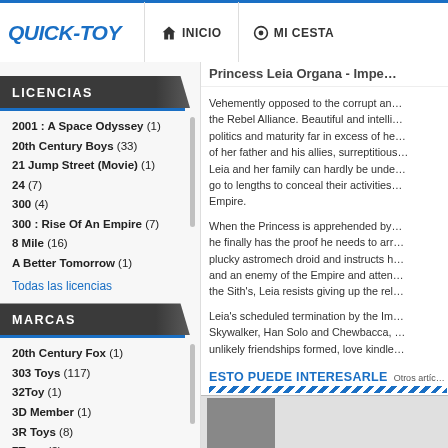QUICK-TOY | INICIO | MI CESTA
LICENCIAS
2001 : A Space Odyssey (1)
20th Century Boys (33)
21 Jump Street (Movie) (1)
24 (7)
300 (4)
300 : Rise Of An Empire (7)
8 Mile (16)
A Better Tomorrow (1)
Todas las licencias
MARCAS
20th Century Fox (1)
303 Toys (117)
32Toy (1)
3D Member (1)
3R Toys (8)
7Toys (2)
80s Toys (1)
Aarting (12)
Princess Leia Organa - Impe...
Vehemently opposed to the corrupt and the Rebel Alliance. Beautiful and elli... politics and maturity far in excess of he... of her father and his allies, surreptitious... Leia and her family can hardly be unde... go to lengths to conceal their activities... Empire.
When the Princess is apprehended by... he finally has the proof he needs to ar... plucky astromech droid and instructs h... and an enemy of the Empire and atten... the Sith's, Leia resists giving up the re...
Leia's scheduled termination by the Im... Skywalker, Han Solo and Chewbacca, ... unlikely friendships formed, love kindle...
ESTO PUEDE INTERESARLE | OTROS ARTÍCULOS